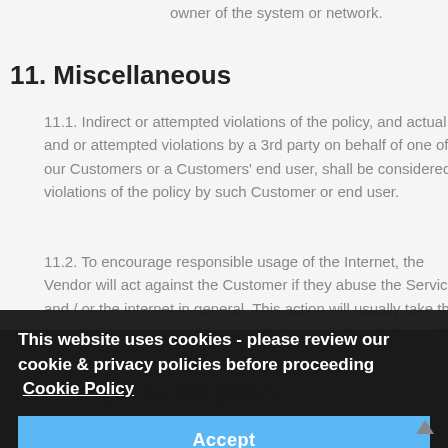owner of the system or network.
11. Miscellaneous
11.1. Indirect or attempted violations of the policy, and actual and or attempted violations by a 3rd party on behalf of one of our Customers or a Customers' end user, shall be considered violations of the policy by such Customer or end user.
11.2. To encourage responsible usage of the Internet, the Vendor will act against the Customer if they abuse the Service and / or the internet in general. This action will usually take the form of a temporary suspension of the account until the matter can be resolved. If appropriate the account may be terminated immediately and without refund.
This website uses cookies - please review our cookie & privacy policies before proceeding  Cookie Policy
12. Changes to this policy
12.1. This policy is effective as of the 25th of May 2018 and will remain in effect except with respect to any changes in its provisions in the future, which will be in effect immediately after being posted on this